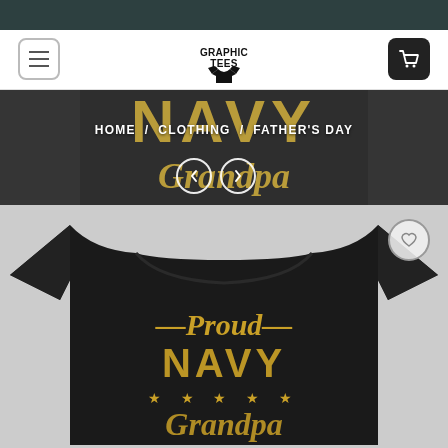[Figure (screenshot): Website header with dark teal top bar, white navigation bar with hamburger menu icon on left, Graphic Tees logo in center, and dark cart icon button on right]
[Figure (screenshot): Hero banner showing close-up of black Navy Grandpa t-shirt with gold lettering, overlaid with breadcrumb navigation: HOME / CLOTHING / FATHER'S DAY, and carousel navigation arrows]
HOME / CLOTHING / FATHER'S DAY
[Figure (photo): Product photo of a black t-shirt printed with 'Proud NAVY Grandpa' in gold/yellow distressed lettering with stars, shown on grey background with a circular wishlist/heart button in upper right]